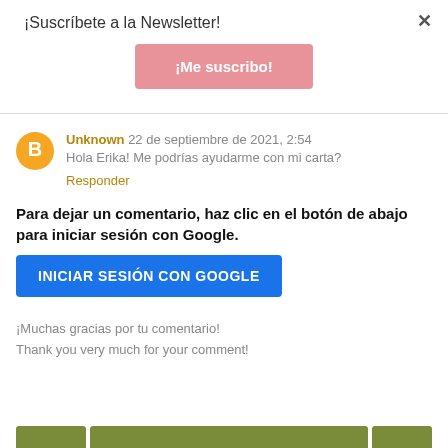¡Suscríbete a la Newsletter!
¡Me suscribo!
Unknown 22 de septiembre de 2021, 2:54
Hola Erika! Me podrías ayudarme con mi carta?
Responder
Para dejar un comentario, haz clic en el botón de abajo para iniciar sesión con Google.
INICIAR SESIÓN CON GOOGLE
¡Muchas gracias por tu comentario!
Thank you very much for your comment!